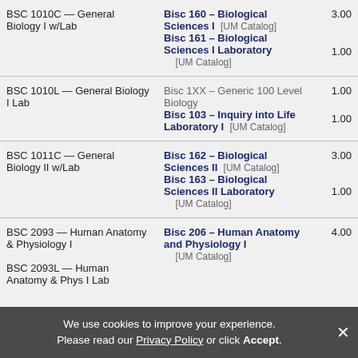| Course | Equivalent | Credits |
| --- | --- | --- |
| BSC 1010C — General Biology I w/Lab | Bisc 160 – Biological Sciences I [UM Catalog]
Bisc 161 – Biological Sciences I Laboratory [UM Catalog] | 3.00
1.00 |
| BSC 1010L — General Biology I Lab | Bisc 1XX – Generic 100 Level Biology
Bisc 103 – Inquiry into Life Laboratory I [UM Catalog] | 1.00
1.00 |
| BSC 1011C — General Biology II w/Lab | Bisc 162 – Biological Sciences II [UM Catalog]
Bisc 163 – Biological Sciences II Laboratory [UM Catalog] | 3.00
1.00 |
| BSC 2093 — Human Anatomy & Physiology I
BSC 2093L — Human Anatomy & Phys I Lab | Bisc 206 – Human Anatomy and Physiology I [UM Catalog] | 4.00 |
We use cookies to improve your experience. Please read our Privacy Policy or click Accept.